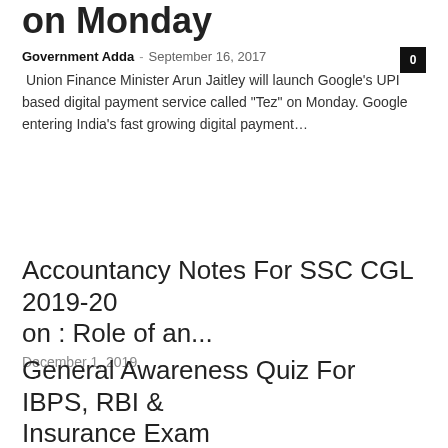on Monday
Government Adda - September 16, 2017
Union Finance Minister Arun Jaitley will launch Google's UPI based digital payment service called "Tez" on Monday. Google entering India's fast growing digital payment...
Accountancy Notes For SSC CGL 2019-20 on : Role of an...
December 1, 2019
General Awareness Quiz For IBPS, RBI & Insurance Exam
November 12, 2017
Economics Notes For SSC CGL / CHSL Exam 2019-20 on :...
December 2, 2019